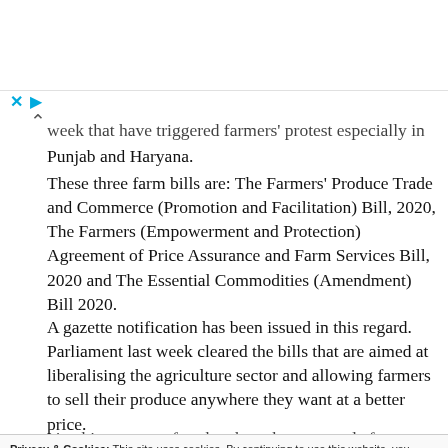week that have triggered farmers' protest especially in Punjab and Haryana.
These three farm bills are: The Farmers' Produce Trade and Commerce (Promotion and Facilitation) Bill, 2020, The Farmers (Empowerment and Protection) Agreement of Price Assurance and Farm Services Bill, 2020 and The Essential Commodities (Amendment) Bill 2020.
A gazette notification has been issued in this regard. Parliament last week cleared the bills that are aimed at liberalising the agriculture sector and allowing farmers to sell their produce anywhere they want at a better price.
Privacy & Cookies: This site uses cookies. By continuing to use this website, you agree to their use.
To find out more, including how to control cookies, see here: Cookie Policy
Close and accept
give his consent after they have been passed after following